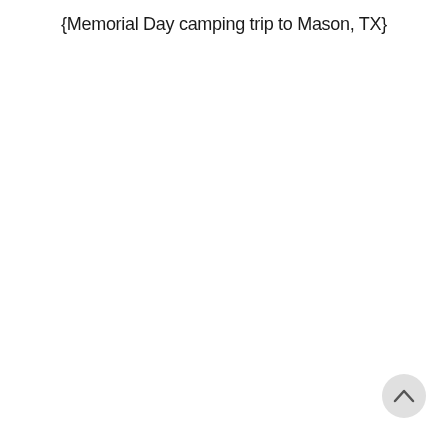{Memorial Day camping trip to Mason, TX}
[Figure (other): Back-to-top button: a circular gray button with an upward-pointing chevron arrow in the bottom-right corner of the page.]